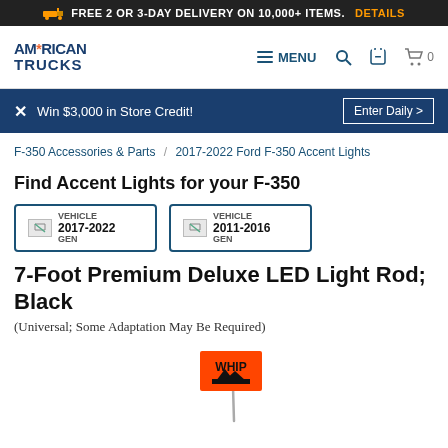FREE 2 OR 3-DAY DELIVERY ON 10,000+ ITEMS. DETAILS
AMERICAN TRUCKS — MENU (navigation icons: search, phone, cart)
Win $3,000 in Store Credit! Enter Daily >
F-350 Accessories & Parts / 2017-2022 Ford F-350 Accent Lights
Find Accent Lights for your F-350
[Figure (other): Two vehicle selector cards: VEHICLE 2017-2022 GEN and VEHICLE 2011-2016 GEN]
7-Foot Premium Deluxe LED Light Rod; Black
(Universal; Some Adaptation May Be Required)
[Figure (photo): Product image showing a whip flag with orange banner marked WHIP on a thin rod, visible at the bottom of the page]